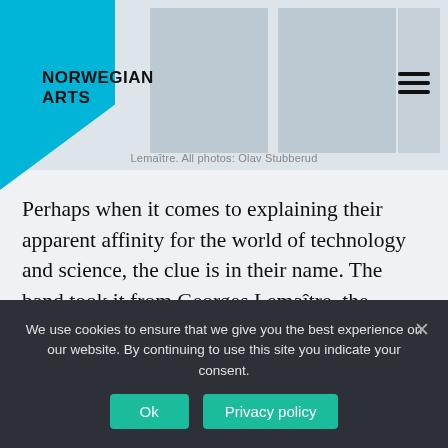NORWEGIAN ARTS
Lemaître. All photos: Olav Stubberud
Perhaps when it comes to explaining their apparent affinity for the world of technology and science, the clue is in their name. The band took it from Georges Lemaître, the Belgian priest, astronomer and physicist who first proposed the Big Bang theory in 1931, and their EP and song titles could easily have been plucked from a physics textbook: Relativity,
We use cookies to ensure that we give you the best experience on our website. By continuing to use this site you indicate your consent.